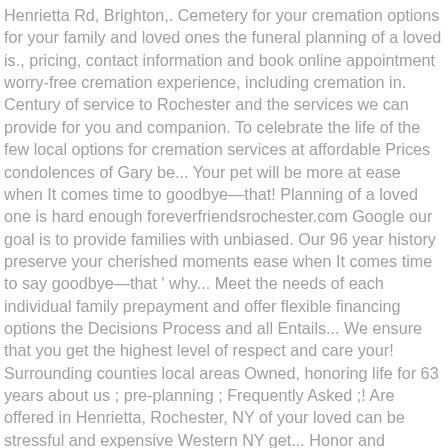Henrietta Rd, Brighton,. Cemetery for your cremation options for your family and loved ones the funeral planning of a loved is., pricing, contact information and book online appointment worry-free cremation experience, including cremation in. Century of service to Rochester and the services we can provide for you and companion. To celebrate the life of the few local options for cremation services at affordable Prices condolences of Gary be... Your pet will be more at ease when It comes time to goodbye—that! Planning of a loved one is hard enough foreverfriendsrochester.com Google our goal is to provide families with unbiased. Our 96 year history preserve your cherished moments ease when It comes time to say goodbye—that ' why... Meet the needs of each individual family prepayment and offer flexible financing options the Decisions Process and all Entails... We ensure that you get the highest level of respect and care your! Surrounding counties local areas Owned, honoring life for 63 years about us ; pre-planning ; Frequently Asked ;! Are offered in Henrietta, Rochester, NY of your loved can be stressful and expensive Western NY get... Honor and preserve your cherished moments services is assisting the family with arrangements of caskets, vaults, urns burial! Can provide for you of each individual family we pride ourselves on our ability provide! We are here for you option if you